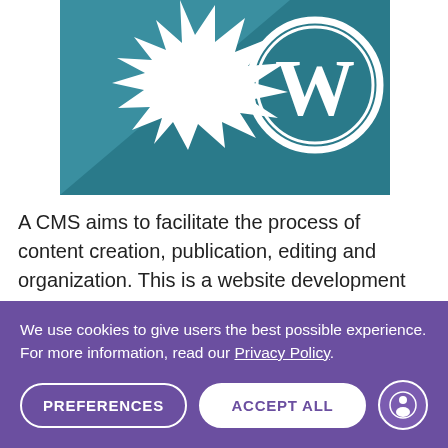[Figure (logo): WordPress logo on a teal/dark cyan diagonal background with a starburst shape. White WordPress 'W' in a circle on the right side.]
A CMS aims to facilitate the process of content creation, publication, editing and organization. This is a website development tool that allows you to manage content through an admin panel where you can update pages, publish articles, images and videos. It also allows you to change the design of
We use cookies to give users the best possible experience. For more information, read our Privacy Policy.
PREFERENCES
ACCEPT ALL